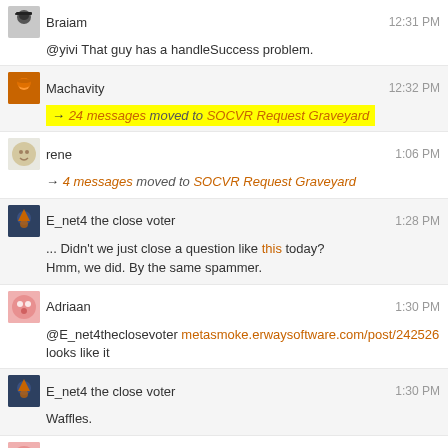Braiam 12:31 PM
@yivi That guy has a handleSuccess problem.
Machavity 12:32 PM
→ 24 messages moved to SOCVR Request Graveyard
rene 1:06 PM
→ 4 messages moved to SOCVR Request Graveyard
E_net4 the close voter 1:28 PM
... Didn't we just close a question like this today?
Hmm, we did. By the same spammer.
Adriaan 1:30 PM
@E_net4theclosevoter metasmoke.erwaysoftware.com/post/242526 looks like it
E_net4 the close voter 1:30 PM
Waffles.
Adriaan 1:31 PM
@E_net4theclosevoter that's an answer
E_net4 the close voter 1:31 PM
@Adriaan fixed?
But it's closed now anyways.
There, now the answer is waffles.